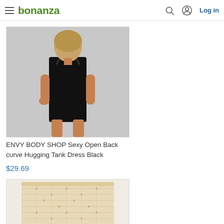bonanza  Log in
[Figure (photo): Woman wearing a black sleeveless open back curve hugging mini tank dress]
ENVY BODY SHOP Sexy Open Back curve Hugging Tank Dress Black
$29.69
[Figure (photo): Beige/nude colored lace or textured mini skirt shown from the front on a white background]